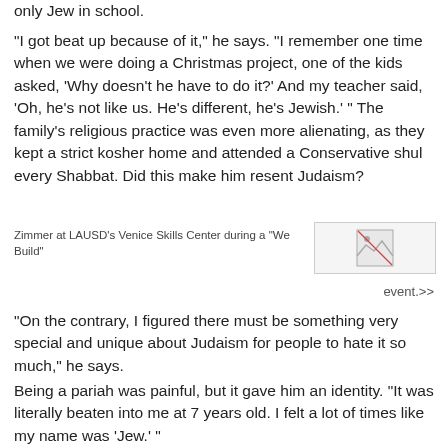only Jew in school.
“I got beat up because of it,” he says. “I remember one time when we were doing a Christmas project, one of the kids asked, ‘Why doesn’t he have to do it?’ And my teacher said, ‘Oh, he’s not like us. He’s different, he’s Jewish.’ ” The family’s religious practice was even more alienating, as they kept a strict kosher home and attended a Conservative shul every Shabbat.  Did this make him resent Judaism?
Zimmer at LAUSD’s Venice Skills Center during a “We Build”
[Figure (photo): Broken/missing image placeholder thumbnail]
event.>>
“On the contrary, I figured there must be something very special and unique about Judaism for people to hate it so much,” he says.
Being a pariah was painful, but it gave him an identity. “It was literally beaten into me at 7 years old. I felt a lot of times like my name was ‘Jew.’ ”
That sense of estrangement ruptured something deep in Zimmer that had a lasting impact on his religious journey. “My...